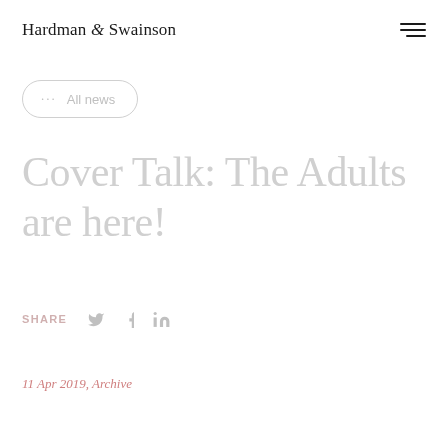Hardman & Swainson
··· All news
Cover Talk: The Adults are here!
SHARE
11 Apr 2019, Archive